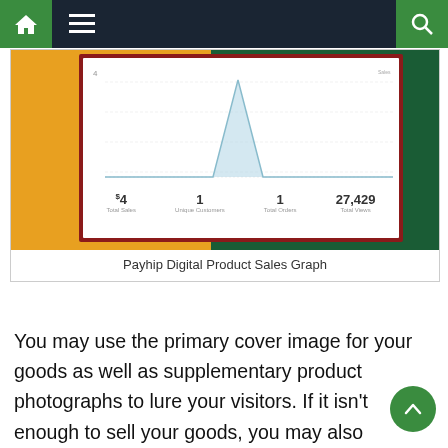Navigation bar with home, menu, and search icons
[Figure (screenshot): Payhip Digital Product Sales Graph showing a line/area chart with a spike, and summary stats: Total Sales $4, Unique Customers 1, Total Orders 1, Total Views 27,429]
Payhip Digital Product Sales Graph
You may use the primary cover image for your goods as well as supplementary product photographs to lure your visitors. If it isn't enough to sell your goods, you may also include a video or audio file. Finally, you may add additional